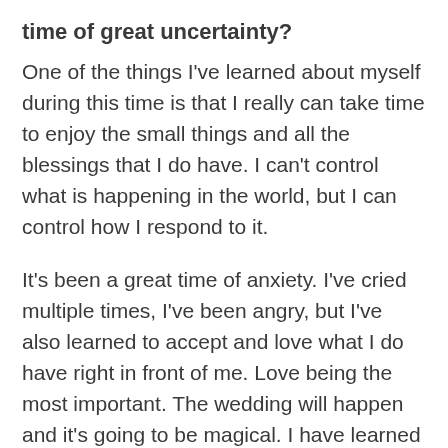time of great uncertainty?
One of the things I've learned about myself during this time is that I really can take time to enjoy the small things and all the blessings that I do have. I can't control what is happening in the world, but I can control how I respond to it.
It's been a great time of anxiety. I've cried multiple times, I've been angry, but I've also learned to accept and love what I do have right in front of me. Love being the most important. The wedding will happen and it's going to be magical. I have learned to be okay with things being a bit more…